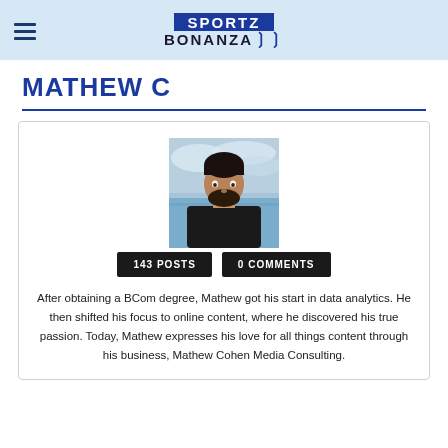SPORTZ BONANZA
MATHEW C
[Figure (photo): Profile photo of Mathew C, a man with a beard wearing a dark t-shirt, photographed outdoors near water]
143 POSTS   0 COMMENTS
After obtaining a BCom degree, Mathew got his start in data analytics. He then shifted his focus to online content, where he discovered his true passion. Today, Mathew expresses his love for all things content through his business, Mathew Cohen Media Consulting.